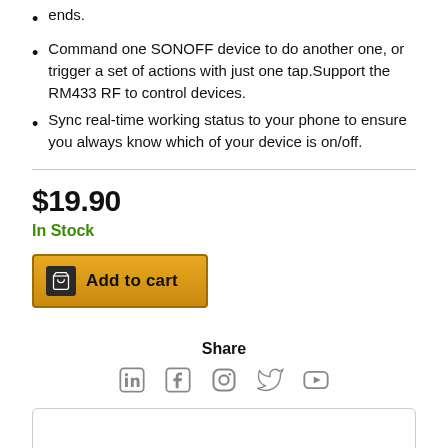ends.
Command one SONOFF device to do another one, or trigger a set of actions with just one tap.Support the RM433 RF to control devices.
Sync real-time working status to your phone to ensure you always know which of your device is on/off.
$19.90
In Stock
Add to cart
Share
[Figure (infographic): Social media icons: LinkedIn, Facebook, Instagram, Twitter, YouTube]
Login to see your home's capabilities
Login